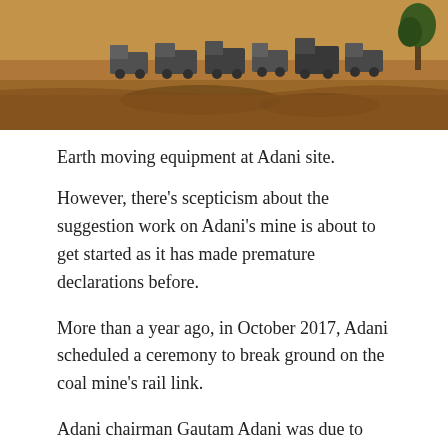[Figure (photo): Aerial view of earth moving equipment and trucks at Adani mining site, arid landscape with red/brown soil]
Earth moving equipment at Adani site.
However, there's scepticism about the suggestion work on Adani's mine is about to get started as it has made premature declarations before.
More than a year ago, in October 2017, Adani scheduled a ceremony to break ground on the coal mine's rail link.
Adani chairman Gautam Adani was due to attend alongside then-deputy prime minister Barnaby Joyce. But the ceremony was cancelled due to rain and was never rescheduled.
This was hardly surprising given a government-funded